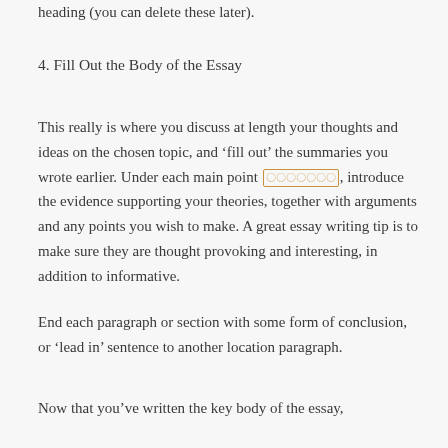heading (you can delete these later).
4. Fill Out the Body of the Essay
This really is where you discuss at length your thoughts and ideas on the chosen topic, and 'fill out' the summaries you wrote earlier. Under each main point [???????], introduce the evidence supporting your theories, together with arguments and any points you wish to make. A great essay writing tip is to make sure they are thought provoking and interesting, in addition to informative.
End each paragraph or section with some form of conclusion, or 'lead in' sentence to another location paragraph.
Now that you've written the key body of the essay,